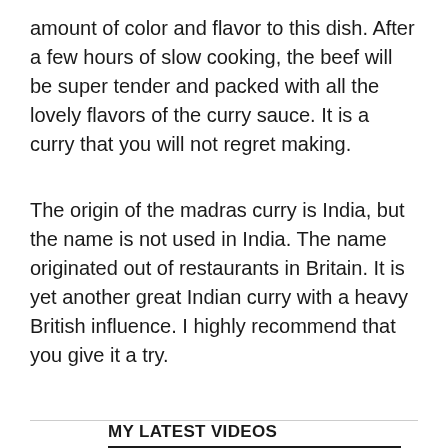amount of color and flavor to this dish. After a few hours of slow cooking, the beef will be super tender and packed with all the lovely flavors of the curry sauce. It is a curry that you will not regret making.
The origin of the madras curry is India, but the name is not used in India. The name originated out of restaurants in Britain. It is yet another great Indian curry with a heavy British influence. I highly recommend that you give it a try.
MY LATEST VIDEOS
[Figure (screenshot): Embedded video player showing a dark background with a play button icon and a grey bottom area with text 'The video cannot be' visible. An X close button appears to the right.]